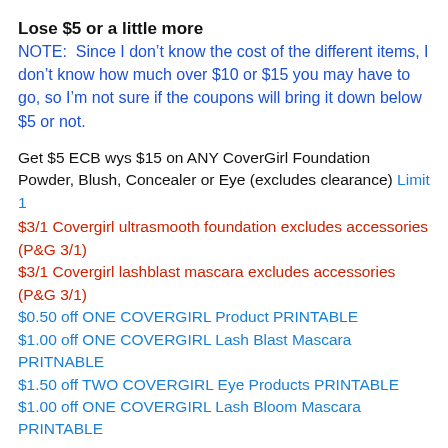Lose $5 or a little more
NOTE:  Since I don't know the cost of the different items, I don't know how much over $10 or $15 you may have to go, so I'm not sure if the coupons will bring it down below $5 or not.
Get $5 ECB wys $15 on ANY CoverGirl Foundation Powder, Blush, Concealer or Eye (excludes clearance) Limit 1
$3/1 Covergirl ultrasmooth foundation excludes accessories (P&G 3/1)
$3/1 Covergirl lashblast mascara excludes accessories (P&G 3/1)
$0.50 off ONE COVERGIRL Product PRINTABLE
$1.00 off ONE COVERGIRL Lash Blast Mascara PRITNABLE
$1.50 off TWO COVERGIRL Eye Products PRINTABLE
$1.00 off ONE COVERGIRL Lash Bloom Mascara PRINTABLE
Get $7 ECB wys $10 on ANY Physicians Formula Cosmetics (excludes clearance) Limit 1